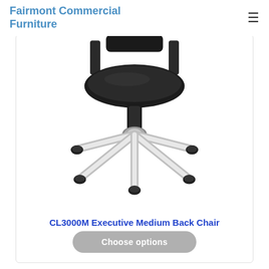Fairmont Commercial Furniture
[Figure (photo): Close-up photo of a black executive office chair with chrome five-star wheeled base, viewed from above-front angle showing seat cushion and the chrome caster base.]
CL3000M Executive Medium Back Chair
Choose options